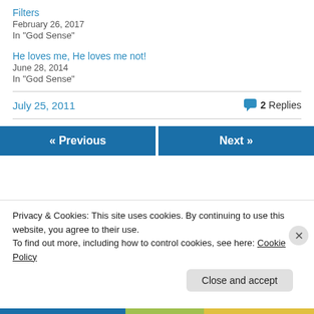Filters
February 26, 2017
In "God Sense"
He loves me, He loves me not!
June 28, 2014
In "God Sense"
July 25, 2011
2 Replies
« Previous
Next »
Privacy & Cookies: This site uses cookies. By continuing to use this website, you agree to their use.
To find out more, including how to control cookies, see here: Cookie Policy
Close and accept